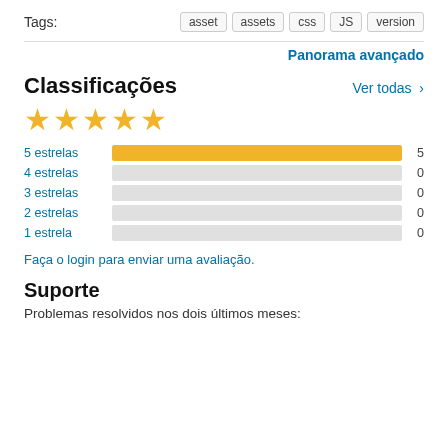Tags:  asset  assets  css  JS  version
Panorama avançado
Classificações
Ver todas >
[Figure (bar-chart): Rating distribution]
Faça o login para enviar uma avaliação.
Suporte
Problemas resolvidos nos dois últimos meses: